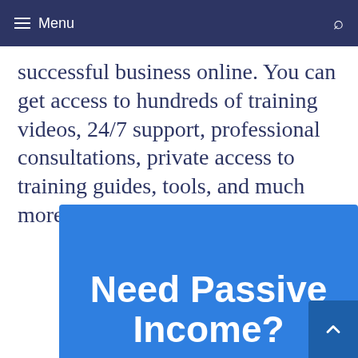Menu
successful business online. You can get access to hundreds of training videos, 24/7 support, professional consultations, private access to training guides, tools, and much more.
[Figure (other): Blue promotional banner with bold white text reading 'Need Passive Income?' with a scroll-to-top button in darker blue]
Need Passive Income?